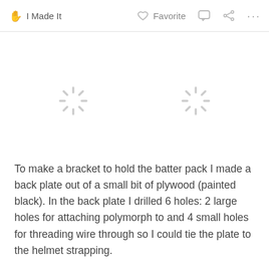I Made It   Favorite   …
[Figure (other): Two loading spinner icons (grey starburst/loading indicators) shown side by side in a white content area, indicating images failed to load or are still loading.]
To make a bracket to hold the batter pack I made a back plate out of a small bit of plywood (painted black). In the back plate I drilled 6 holes: 2 large holes for attaching polymorph to and 4 small holes for threading wire through so I could tie the plate to the helmet strapping.